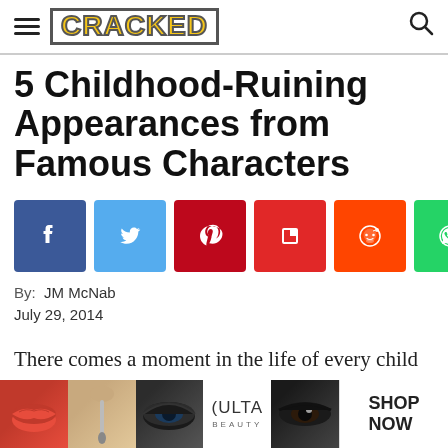CRACKED
5 Childhood-Ruining Appearances from Famous Characters
[Figure (infographic): Social share buttons: Facebook (blue), Twitter (light blue), Pinterest (dark red), Flipboard (red), Reddit (orange-red), WhatsApp (green)]
By: JM McNab
July 29, 2014
There comes a moment in the life of every child when you find out your parents are just people: Maybe you
[Figure (photo): Ulta Beauty advertisement banner at bottom of page showing makeup/beauty imagery with SHOP NOW call to action]